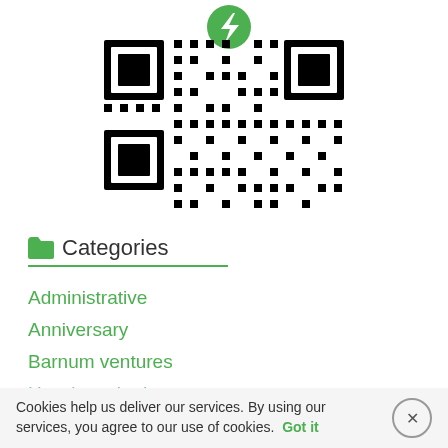[Figure (other): QR code with a green lightning bolt icon in the center top area]
Categories
Administrative
Anniversary
Barnum ventures
How it worked
Cookies help us deliver our services. By using our services, you agree to our use of cookies. Got it